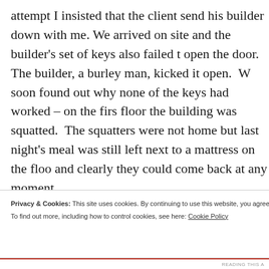attempt I insisted that the client send his builder down with me. We arrived on site and the builder's set of keys also failed to open the door. The builder, a burley man, kicked it open. We soon found out why none of the keys had worked – on the first floor the building was squatted. The squatters were not home but last night's meal was still left next to a mattress on the floor and clearly they could come back at any moment.
There were also squatters on the second floor. Their bones cr dead – pigeons, lots of them. I gagged as I inhaled the stench o could the people on the floor below live like this?
The builder, a real team player, decided to wait in the safety...
Privacy & Cookies: This site uses cookies. By continuing to use this website, you agree to their use. To find out more, including how to control cookies, see here: Cookie Policy